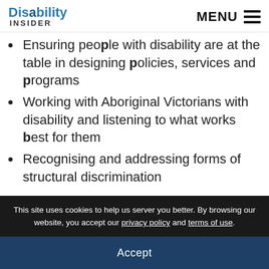Disability Insider | MENU
Ensuring people with disability are at the table in designing policies, services and programs
Working with Aboriginal Victorians with disability and listening to what works best for them
Recognising and addressing forms of structural discrimination
This site uses cookies to help us server you better. By browsing our website, you accept our privacy policy and terms of use.
Accept